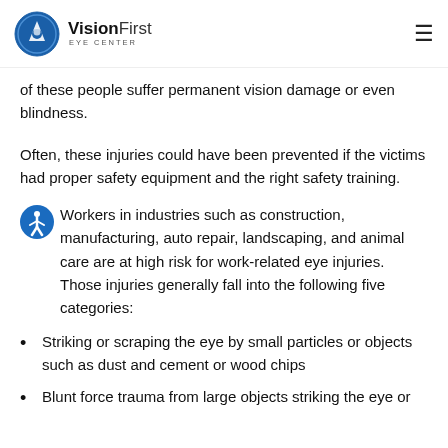VisionFirst Eye Center
of these people suffer permanent vision damage or even blindness.
Often, these injuries could have been prevented if the victims had proper safety equipment and the right safety training.
Workers in industries such as construction, manufacturing, auto repair, landscaping, and animal care are at high risk for work-related eye injuries. Those injuries generally fall into the following five categories:
Striking or scraping the eye by small particles or objects such as dust and cement or wood chips
Blunt force trauma from large objects striking the eye or